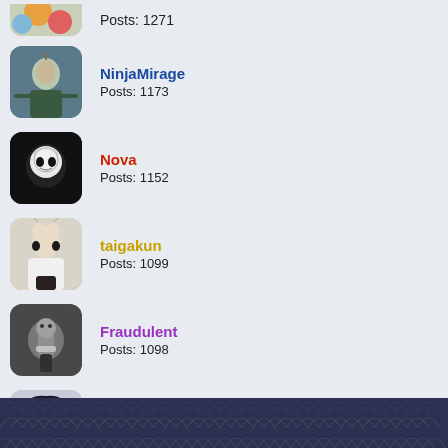Posts: 1271
NinjaMirage
Posts: 1173
Nova
Posts: 1152
taigakun
Posts: 1099
Fraudulent
Posts: 1098
Konohuro
Posts: 1060